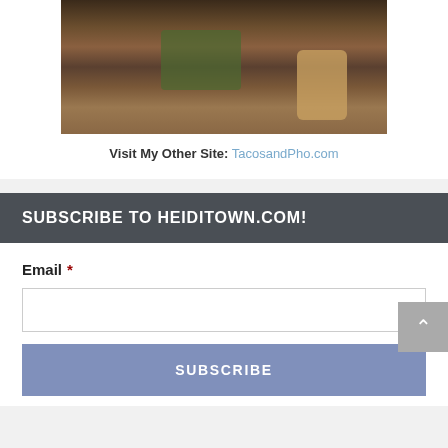[Figure (photo): Photo of tacos on a tray with condiment bottles and lime wedges, person visible in background]
Visit My Other Site: TacosandPho.com
SUBSCRIBE TO HEIDITOWN.COM!
Email *
SUBSCRIBE